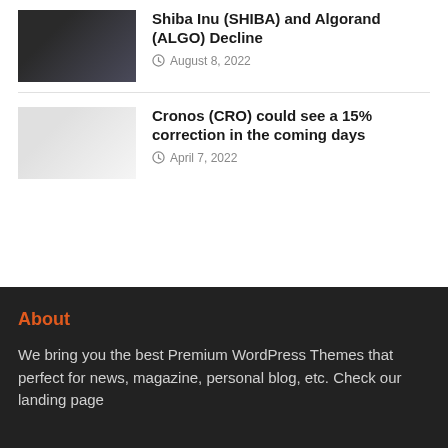[Figure (photo): Dark thumbnail image for Shiba Inu and Algorand article]
Shiba Inu (SHIBA) and Algorand (ALGO) Decline
August 8, 2022
[Figure (photo): Light/white thumbnail image for Cronos article]
Cronos (CRO) could see a 15% correction in the coming days
April 7, 2022
About
We bring you the best Premium WordPress Themes that perfect for news, magazine, personal blog, etc. Check our landing page